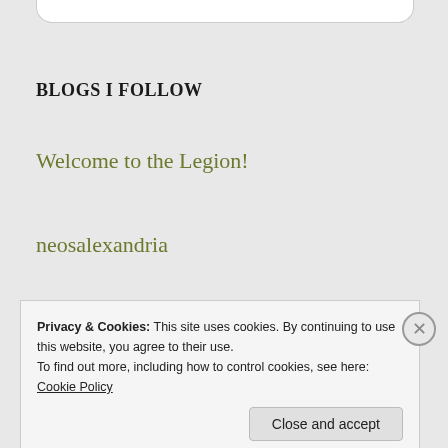BLOGS I FOLLOW
Welcome to the Legion!
neosalexandria
Lead from the Library
balletclassroom
Privacy & Cookies: This site uses cookies. By continuing to use this website, you agree to their use.
To find out more, including how to control cookies, see here: Cookie Policy
Close and accept